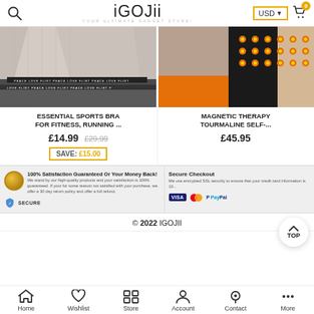iGOJii — YOUR ULTIMATE GADGET STORE! USD ▼
[Figure (photo): Sports bra product image - beige/grey sports bra with 'PEACE LOVE FLIRT' text band]
[Figure (photo): Magnetic therapy tourmaline self-heating product image - black compression garment with orange LED/magnetic dots on side of body]
ESSENTIAL SPORTS BRA FOR FITNESS, RUNNING ...
£14.99  £29.99
SAVE: £15.00
MAGNETIC THERAPY TOURMALINE SELF-...
£45.95
100% Satisfaction Guaranteed Or Your Money Back! We stand by our high-quality products and your satisfaction is 100% guaranteed. If your for some reason not satisfied with your purchase, we offer a 30 day return policy and offer a full refund.
Secure Checkout We use encrypted SSL security to ensure that your credit card information is 100%...
© 2022 IGOJII
Home  Wishlist  Store  Account  Contact  More